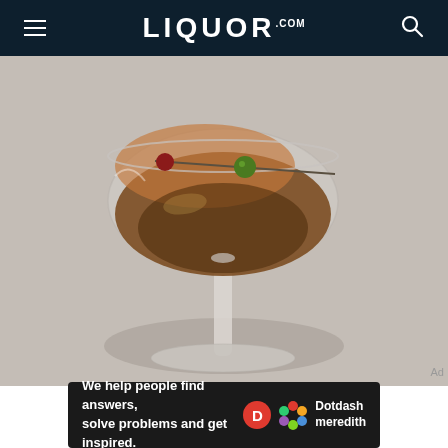LIQUOR.COM
[Figure (photo): A Manhattan cocktail in a coupe glass with a dark amber liquid, garnished with a cocktail pick holding a green olive and a cherry, on a light gray surface.]
Ad
[Figure (infographic): Dotdash Meredith banner advertisement: 'We help people find answers, solve problems and get inspired.' with Dotdash Meredith logo.]